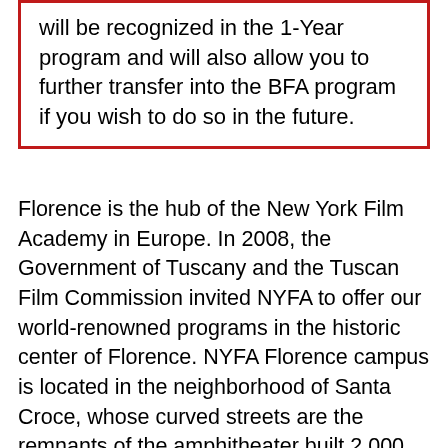will be recognized in the 1-Year program and will also allow you to further transfer into the BFA program if you wish to do so in the future.
Florence is the hub of the New York Film Academy in Europe. In 2008, the Government of Tuscany and the Tuscan Film Commission invited NYFA to offer our world-renowned programs in the historic center of Florence. NYFA Florence campus is located in the neighborhood of Santa Croce, whose curved streets are the remnants of the amphitheater built 2,000 years ago! This iconic Florence campus is just steps away from the Piazza Santa Croce, one of the city's most prominent squares and historical landmarks. The plaza is home to the Basilica of Santa Croce, which features sixteen beautifully decorated chapels and tombs of many illustrious Italian figures, including